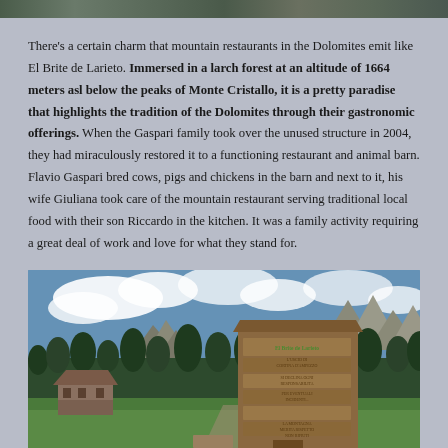[Figure (photo): Top sliver of a mountain/nature photo, cropped]
There's a certain charm that mountain restaurants in the Dolomites emit like El Brite de Larieto. Immersed in a larch forest at an altitude of 1664 meters asl below the peaks of Monte Cristallo, it is a pretty paradise that highlights the tradition of the Dolomites through their gastronomic offerings. When the Gaspari family took over the unused structure in 2004, they had miraculously restored it to a functioning restaurant and animal barn. Flavio Gaspari bred cows, pigs and chickens in the barn and next to it, his wife Giuliana took care of the mountain restaurant serving traditional local food with their son Riccardo in the kitchen. It was a family activity requiring a great deal of work and love for what they stand for.
[Figure (photo): Outdoor photo showing a large wooden sign board in the Dolomites mountains with text about mountain rules, green meadows, forested mountains and clouds in the background, and a mountain refuge building visible to the left]